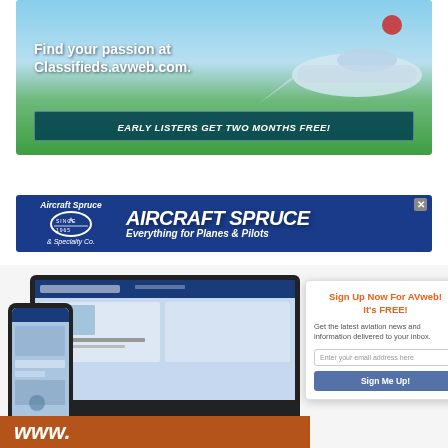[Figure (photo): Advertisement for Classifieds.avweb.com showing a small aircraft on a grassy airfield with sky background. Text reads 'Find your passion at Classifieds.avweb.com.' and 'EARLY LISTERS GET TWO MONTHS FREE!']
[Figure (logo): Aircraft Spruce & Specialty Co. banner advertisement with dark blue background. Logo on left, bold italic text 'AIRCRAFT SPRUCE' and 'Everything for Planes & Pilots' on right.]
[Figure (screenshot): AVweb website shown on laptop, tablet, and smartphone device mockups with 'www.' text bar at bottom in brown/orange color.]
Sign Up Now For AVweb!
It's FREE!
Get the latest aviation news and information delivered to your inbox.
Enter your email address here
Sign Me Up!